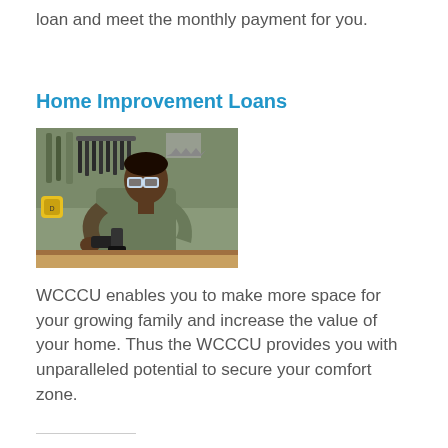loan and meet the monthly payment for you.
Home Improvement Loans
[Figure (photo): A man wearing safety glasses and a green shirt working on a home improvement project with tools, including a drill, at a workbench with tools hanging on a pegboard behind him.]
WCCCU enables you to make more space for your growing family and increase the value of your home. Thus the WCCCU provides you with unparalleled potential to secure your comfort zone.